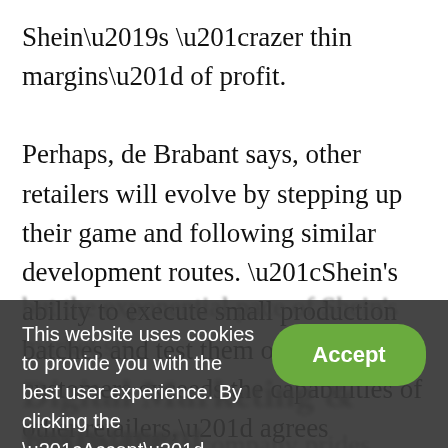Shein's “razer thin margins” of profit.

Perhaps, de Brabant says, other retailers will evolve by stepping up their game and following similar development routes. “Shein's ability to execute small production batches and test them out with customers exceeds the capabilities of other retailers,” agrees Montreal-based McKinsey senior partner Sandrine Devillard. Perhaps others can catch up for a moment,
but the exponential pace of Shein's market sh...
This website uses cookies to provide you with the best user experience. By clicking the “Accept” button, you agree to our Privacy Policy and use of cookies. You can disable cookies through your browser's privacy settings.